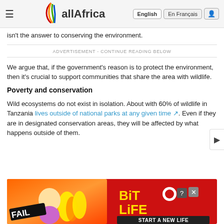allAfrica — English | En Français
isn't the answer to conserving the environment.
ADVERTISEMENT - CONTINUE READING BELOW
We argue that, if the government's reason is to protect the environment, then it's crucial to support communities that share the area with wildlife.
Poverty and conservation
Wild ecosystems do not exist in isolation. About with 60% of wildlife in Tanzania lives outside of national parks at any given time. Even if they are in designated conservation areas, they will be affected by what happens outside of them.
[Figure (screenshot): BitLife advertisement banner with 'FAIL' text and 'START A NEW LIFE' tagline on red/orange background]